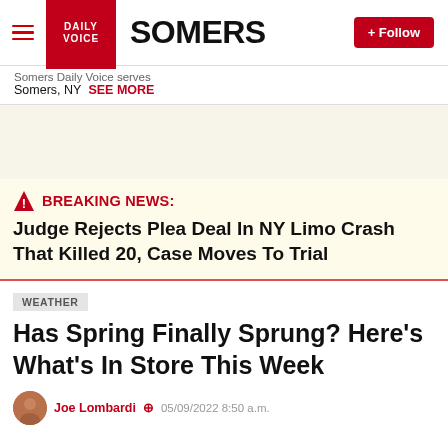Daily Voice SOMERS + Follow
Somers Daily Voice serves Somers, NY SEE MORE
[Figure (other): Advertisement area / blank beige space]
BREAKING NEWS: Judge Rejects Plea Deal In NY Limo Crash That Killed 20, Case Moves To Trial
WEATHER
Has Spring Finally Sprung? Here's What's In Store This Week
Joe Lombardi  + 05/09/2022 8:50 a.m.